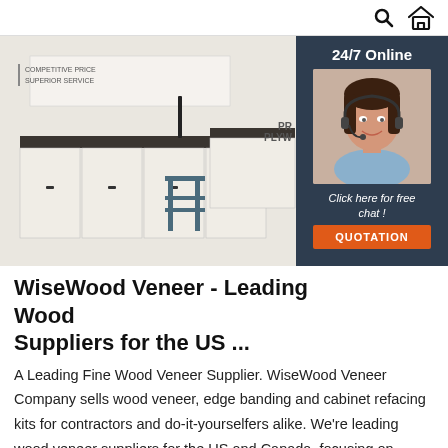Search and Home icons
[Figure (photo): Kitchen interior with white cabinets and dark countertop, with text overlay: COMPETITIVE PRICE / SUPERIOR SERVICE. Adjacent chat panel with 24/7 Online label, female customer service agent with headset, Click here for free chat!, and QUOTATION button.]
WiseWood Veneer - Leading Wood Suppliers for the US ...
A Leading Fine Wood Veneer Supplier. WiseWood Veneer Company sells wood veneer, edge banding and cabinet refacing kits for contractors and do-it-yourselfers alike. We're leading wood veneer suppliers for the US and Canada, focusing on domestic and exotic species. Learn More.